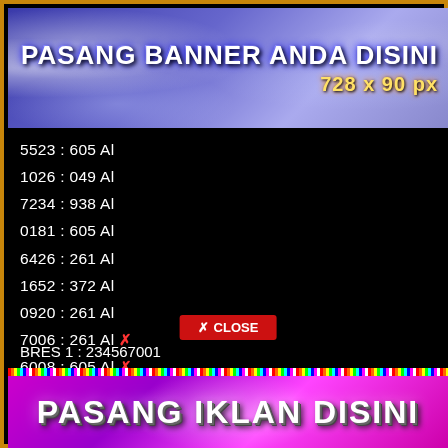[Figure (illustration): Top banner with blue/purple floral background, white bold text 'PASANG BANNER ANDA DISINI' and yellow text '728 x 90 px']
5523 : 605 Al
1026 : 049 Al
7234 : 938 Al
0181 : 605 Al
6426 : 261 Al
1652 : 372 Al
0920 : 261 Al
7006 : 261 Al ✗
6008 : 605 Al ✗
6538 : 594 Al
Key : AfN0+ChML
✗ CLOSE
BRES 1 : 234567001
[Figure (illustration): Bottom banner with purple/magenta gradient background, white 3D text 'PASANG IKLAN DISINI']